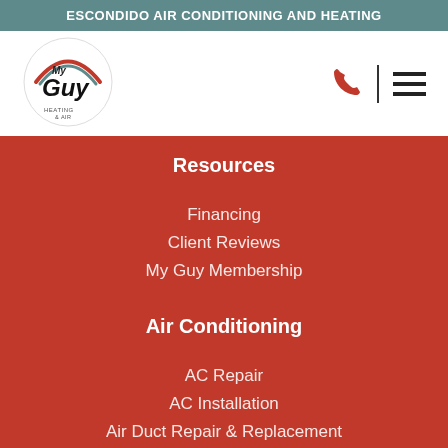ESCONDIDO AIR CONDITIONING AND HEATING
[Figure (logo): My Guy Heating & Air circular logo with red and teal arch and bold script text]
Resources
Financing
Client Reviews
My Guy Membership
Air Conditioning
AC Repair
AC Installation
Air Duct Repair & Replacement
Indoor Air Quality